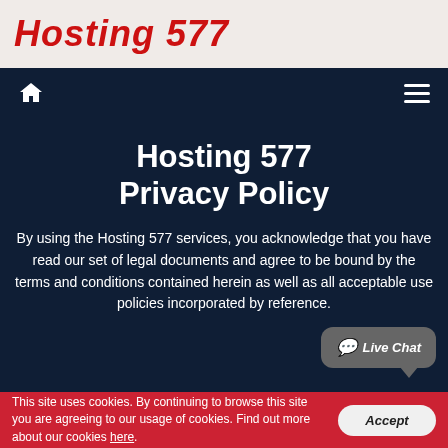Hosting 577
Hosting 577 Privacy Policy
By using the Hosting 577 services, you acknowledge that you have read our set of legal documents and agree to be bound by the terms and conditions contained herein as well as all acceptable use policies incorporated by reference.
This site uses cookies. By continuing to browse this site you are agreeing to our usage of cookies. Find out more about our cookies here.